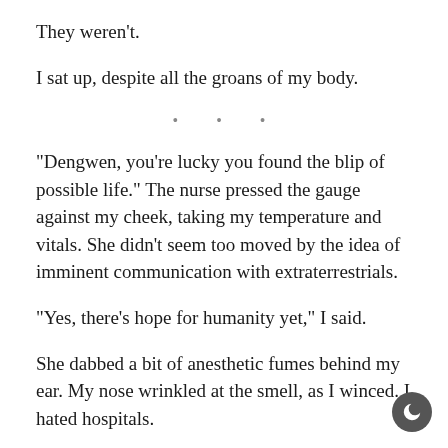They weren't.
I sat up, despite all the groans of my body.
• • •
“Dengwen, you’re lucky you found the blip of possible life.” The nurse pressed the gauge against my cheek, taking my temperature and vitals. She didn’t seem too moved by the idea of imminent communication with extraterrestrials.
“Yes, there’s hope for humanity yet,” I said.
She dabbed a bit of anesthetic fumes behind my ear. My nose wrinkled at the smell, as I winced. I hated hospitals.
“No, you’re lucky, for your own sake,” she